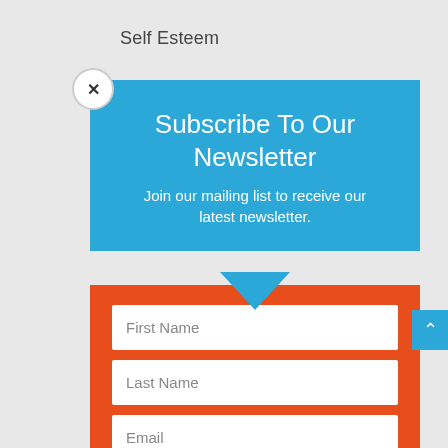Self Esteem
[Figure (screenshot): Newsletter subscription popup modal with blue header section containing title 'Subscribe To Our Newsletter' and subtitle text, orange form section with First Name, Last Name, Email fields, and a green SUBSCRIBE! button. A close (X) button appears top-left of the modal.]
Subscribe To Our Newsletter
Join our mailing list to receive our latest newsletter.
First Name
Last Name
Email
SUBSCRIBE!